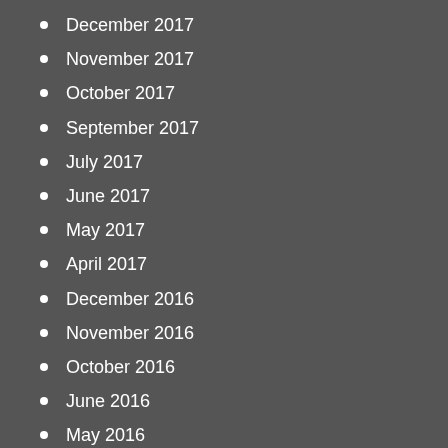December 2017
November 2017
October 2017
September 2017
July 2017
June 2017
May 2017
April 2017
December 2016
November 2016
October 2016
June 2016
May 2016
April 2016
January 2016
December 2015
November 2015
July 2015
June 2015
May 2015
December 2014
November 2014
October 2014